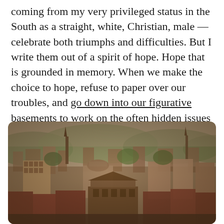coming from my very privileged status in the South as a straight, white, Christian, male — celebrate both triumphs and difficulties. But I write them out of a spirit of hope. Hope that is grounded in memory. When we make the choice to hope, refuse to paper over our troubles, and go down into our figurative basements to work on the often hidden issues that divide us as a country, perhaps then we can move beyond a celebration of a past that never existed and begin understanding and honoring the past that did.
[Figure (photo): A vintage sepia-toned aerial/elevated photograph of a 19th century American city with church steeples, brick buildings, trees, and hills in the background.]